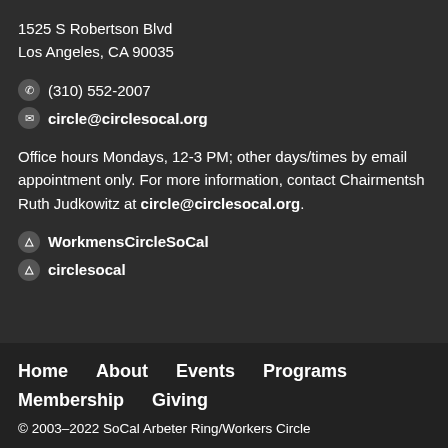1525 S Robertson Blvd
Los Angeles, CA 90035
(310) 552-2007
circle@circlesocal.org
Office hours Mondays, 12-3 PM; other days/times by email appointment only. For more information, contact Chairmentsh Ruth Judkowitz at circle@circlesocal.org.
WorkmensCircleSoCal
circlesocal
Home   About   Events   Programs   Membership   Giving
© 2003–2022 SoCal Arbeter Ring/Workers Circle